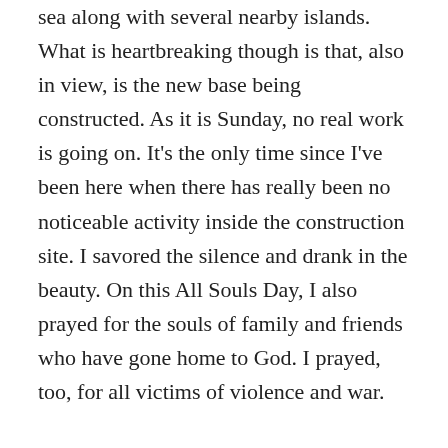sea along with several nearby islands. What is heartbreaking though is that, also in view, is the new base being constructed. As it is Sunday, no real work is going on. It's the only time since I've been here when there has really been no noticeable activity inside the construction site. I savored the silence and drank in the beauty. On this All Souls Day, I also prayed for the souls of family and friends who have gone home to God. I prayed, too, for all victims of violence and war.
Later in the afternoon, I was invited by my friend, Jong Joo,  to accompany her and her friend, Lina, to a beautiful nearby natural reserve where there is an